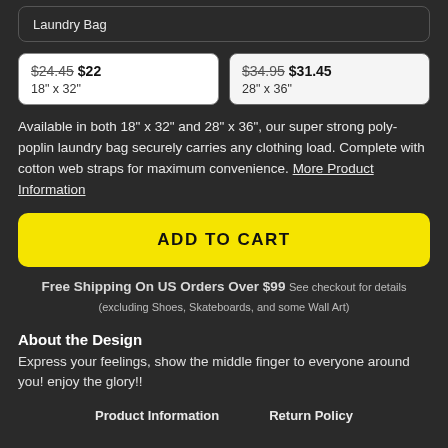Laundry Bag
$24.45 $22
18" x 32"
$34.95 $31.45
28" x 36"
Available in both 18" x 32" and 28" x 36", our super strong poly-poplin laundry bag securely carries any clothing load. Complete with cotton web straps for maximum convenience. More Product Information
ADD TO CART
Free Shipping On US Orders Over $99 See checkout for details (excluding Shoes, Skateboards, and some Wall Art)
About the Design
Express your feelings, show the middle finger to everyone around you! enjoy the glory!!
Product Information	Return Policy